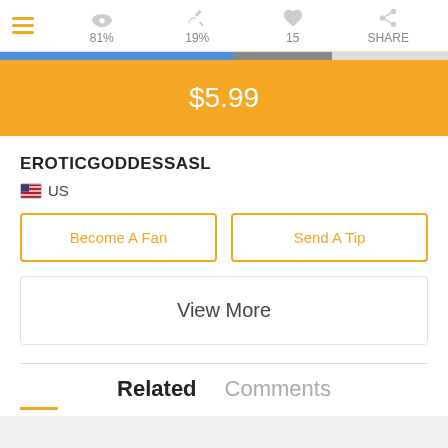81%  19%  15  SHARE
[Figure (infographic): Progress bar with blue and dark gray segments]
$5.99
EROTICGODDESSASL
🇺🇸 US
Become A Fan
Send A Tip
View More
Related  Comments